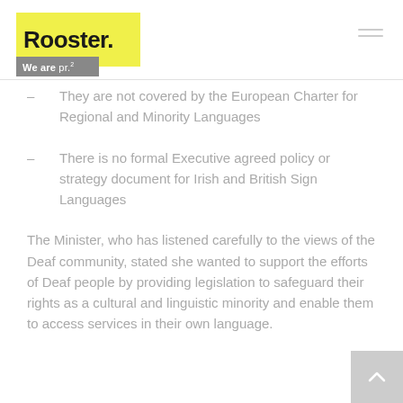Rooster. We are pr.
– They are not covered by the European Charter for Regional and Minority Languages
– There is no formal Executive agreed policy or strategy document for Irish and British Sign Languages
The Minister, who has listened carefully to the views of the Deaf community, stated she wanted to support the efforts of Deaf people by providing legislation to safeguard their rights as a cultural and linguistic minority and enable them to access services in their own language.